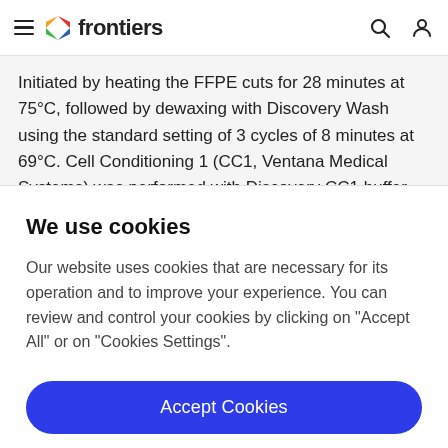frontiers
Initiated by heating the FFPE cuts for 28 minutes at 75°C, followed by dewaxing with Discovery Wash using the standard setting of 3 cycles of 8 minutes at 69°C. Cell Conditioning 1 (CC1, Ventana Medical Systems) was performed with Discovery CC1 buffer for 32 minutes at
We use cookies
Our website uses cookies that are necessary for its operation and to improve your experience. You can review and control your cookies by clicking on "Accept All" or on "Cookies Settings".
Accept Cookies
Cookies Settings